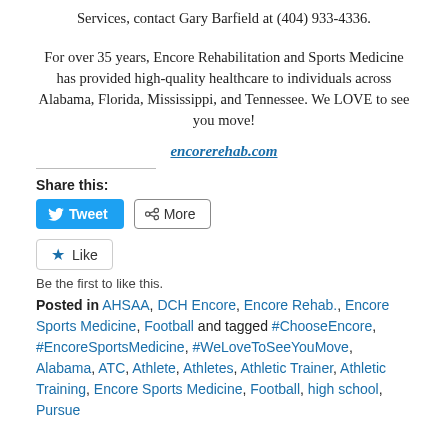Services, contact Gary Barfield at (404) 933-4336.
For over 35 years, Encore Rehabilitation and Sports Medicine has provided high-quality healthcare to individuals across Alabama, Florida, Mississippi, and Tennessee. We LOVE to see you move!
encorerehab.com
Share this:
Tweet  More
Like  Be the first to like this.
Posted in AHSAA, DCH Encore, Encore Rehab., Encore Sports Medicine, Football and tagged #ChooseEncore, #EncoreSportsMedicine, #WeLoveToSeeYouMove, Alabama, ATC, Athlete, Athletes, Athletic Trainer, Athletic Training, Encore Sports Medicine, Football, high school, Pursue